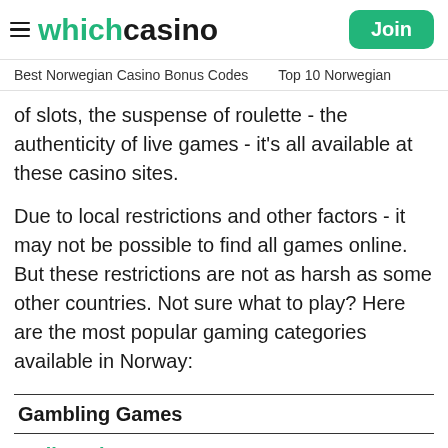whichcasino | Join
Best Norwegian Casino Bonus Codes   Top 10 Norwegian
or slots, the suspense of roulette - the authenticity of live games - it's all available at these casino sites.
Due to local restrictions and other factors - it may not be possible to find all games online. But these restrictions are not as harsh as some other countries. Not sure what to play? Here are the most popular gaming categories available in Norway:
| Gambling Games |  |
| --- | --- |
| Online Slots | Find out if you win in seconds! Slots feature great graphics, exciting gameplay and chance to win big |
Online Slots — Find out if you win in seconds! Slots feature great graphics, exciting gameplay and chance to win big